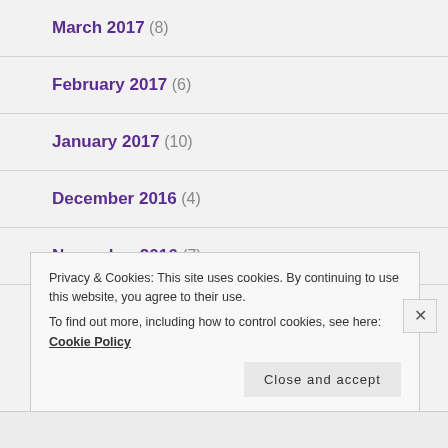March 2017 (8)
February 2017 (6)
January 2017 (10)
December 2016 (4)
November 2016 (7)
October 2016 (13)
Privacy & Cookies: This site uses cookies. By continuing to use this website, you agree to their use.
To find out more, including how to control cookies, see here: Cookie Policy